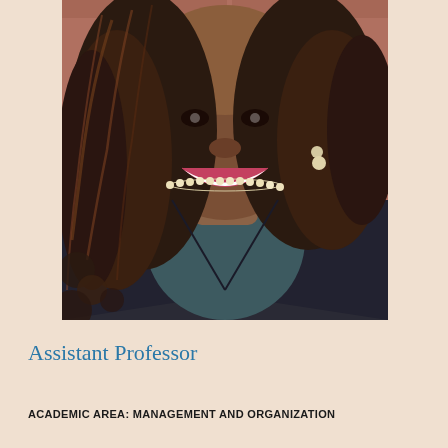[Figure (photo): Professional headshot of a smiling Black woman with braided hair, wearing a dark blazer over a teal top, pearl necklace, and pearl earrings, posed in front of a brick wall background.]
Assistant Professor
ACADEMIC AREA:  MANAGEMENT AND ORGANIZATION